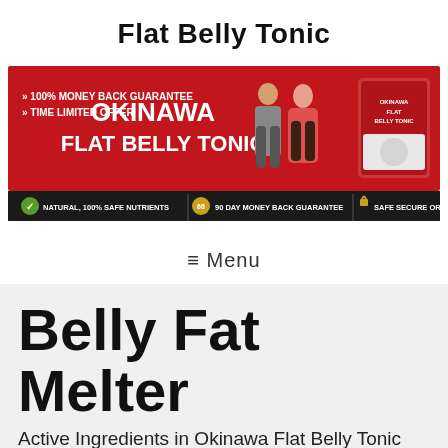Flat Belly Tonic
[Figure (infographic): Okinawa Flat Belly Tonic promotional banner with red background showing fit man and woman, product container, text: 100% MONEY BACK GUARANTEE, TIME LIMITED OFFER, OKINAWA FLAT BELLY TONIC, NATURAL 100% SAFE NUTRIENTS, 90 DAY MONEY BACK GUARANTEE, SAFE SECURE ORDER]
≡ Menu
Belly Fat Melter
Active Ingredients in Okinawa Flat Belly Tonic
There are over 40 individual active